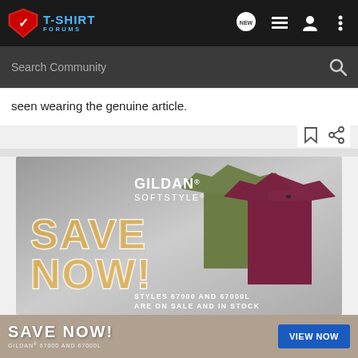T-SHIRT FORUMS
seen wearing the genuine article.
[Figure (photo): Gildan Softstyle advertisement showing two t-shirts (olive green and maroon/burgundy) with large colorful 'SAVE NOW!' text and subtext 'STYLES 67000 AND 67000L ARE ON SALE AND IN STOCK']
[Figure (advertisement): Bottom banner ad: 'SAVE NOW! Gildan 67000 and 67000L' with 'VIEW NOW' blue button]